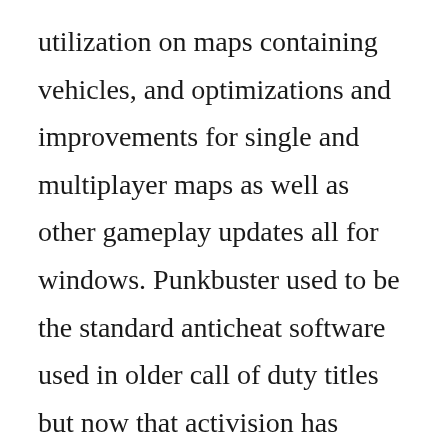utilization on maps containing vehicles, and optimizations and improvements for single and multiplayer maps as well as other gameplay updates all for windows. Punkbuster used to be the standard anticheat software used in older call of duty titles but now that activision has switched their games to the steam platform they have moved to a combination of anticheat measures through the valve anticheat system vac and activision developers own in house anticheat technologies. Call of duty 2 was developed by infinity and was published by activision